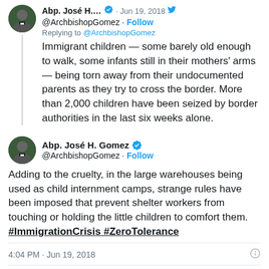Abp. José H.... @ArchbishopGomez · Follow · Jun 19, 2018 · Replying to @ArchbishopGomez
Immigrant children — some barely old enough to walk, some infants still in their mothers' arms — being torn away from their undocumented parents as they try to cross the border. More than 2,000 children have been seized by border authorities in the last six weeks alone.
Abp. José H. Gomez @ArchbishopGomez · Follow
Adding to the cruelty, in the large warehouses being used as child internment camps, strange rules have been imposed that prevent shelter workers from touching or holding the little children to comfort them. #ImmigrationCrisis #ZeroTolerance
4:04 PM · Jun 19, 2018
79 Reply Copy link